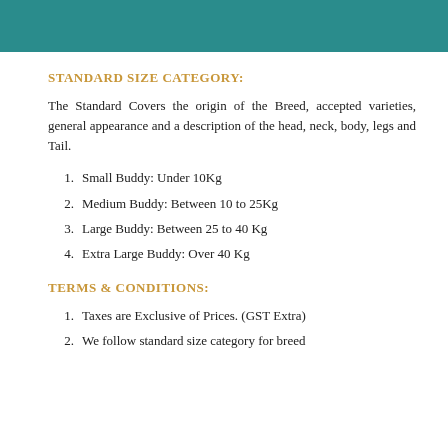STANDARD SIZE CATEGORY:
The Standard Covers the origin of the Breed, accepted varieties, general appearance and a description of the head, neck, body, legs and Tail.
Small Buddy: Under 10Kg
Medium Buddy: Between 10 to 25Kg
Large Buddy: Between 25 to 40 Kg
Extra Large Buddy: Over 40 Kg
TERMS & CONDITIONS:
Taxes are Exclusive of Prices. (GST Extra)
We follow standard size category for breed